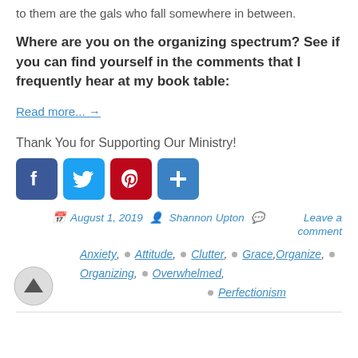to them are the gals who fall somewhere in between.
Where are you on the organizing spectrum? See if you can find yourself in the comments that I frequently hear at my book table:
Read more... →
Thank You for Supporting Our Ministry!
[Figure (infographic): Social media sharing icons: Facebook (blue), Twitter (light blue), Pinterest (red), Add/Plus (blue)]
August 1, 2019  Shannon Upton  Leave a comment
Anxiety, Attitude, Clutter, Grace, Organize, Organizing, Overwhelmed, Perfectionism